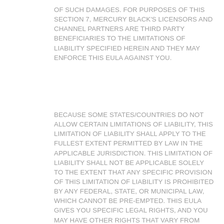OF SUCH DAMAGES. FOR PURPOSES OF THIS SECTION 7, MERCURY BLACK'S LICENSORS AND CHANNEL PARTNERS ARE THIRD PARTY BENEFICIARIES TO THE LIMITATIONS OF LIABILITY SPECIFIED HEREIN AND THEY MAY ENFORCE THIS EULA AGAINST YOU.
BECAUSE SOME STATES/COUNTRIES DO NOT ALLOW CERTAIN LIMITATIONS OF LIABILITY, THIS LIMITATION OF LIABILITY SHALL APPLY TO THE FULLEST EXTENT PERMITTED BY LAW IN THE APPLICABLE JURISDICTION. THIS LIMITATION OF LIABILITY SHALL NOT BE APPLICABLE SOLELY TO THE EXTENT THAT ANY SPECIFIC PROVISION OF THIS LIMITATION OF LIABILITY IS PROHIBITED BY ANY FEDERAL, STATE, OR MUNICIPAL LAW, WHICH CANNOT BE PRE-EMPTED. THIS EULA GIVES YOU SPECIFIC LEGAL RIGHTS, AND YOU MAY HAVE OTHER RIGHTS THAT VARY FROM JURISDICTION TO JURISDICTION.